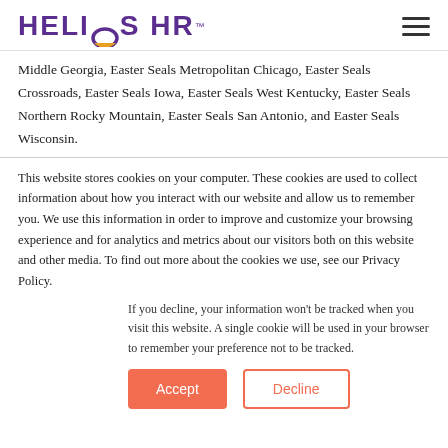HELIOS HR
Middle Georgia, Easter Seals Metropolitan Chicago, Easter Seals Crossroads, Easter Seals Iowa, Easter Seals West Kentucky, Easter Seals Northern Rocky Mountain, Easter Seals San Antonio, and Easter Seals Wisconsin.
This website stores cookies on your computer. These cookies are used to collect information about how you interact with our website and allow us to remember you. We use this information in order to improve and customize your browsing experience and for analytics and metrics about our visitors both on this website and other media. To find out more about the cookies we use, see our Privacy Policy.
If you decline, your information won’t be tracked when you visit this website. A single cookie will be used in your browser to remember your preference not to be tracked.